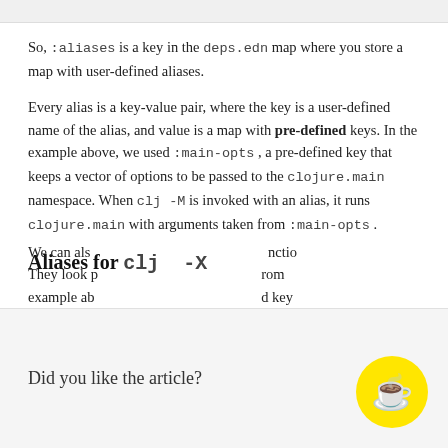So, :aliases is a key in the deps.edn map where you store a map with user-defined aliases.
Every alias is a key-value pair, where the key is a user-defined name of the alias, and value is a map with pre-defined keys. In the example above, we used :main-opts , a pre-defined key that keeps a vector of options to be passed to the clojure.main namespace. When clj -M is invoked with an alias, it runs clojure.main with arguments taken from :main-opts .
Aliases for clj -X
We can als... nction... They look p... rom... example ab... d key...
Did you like the article?